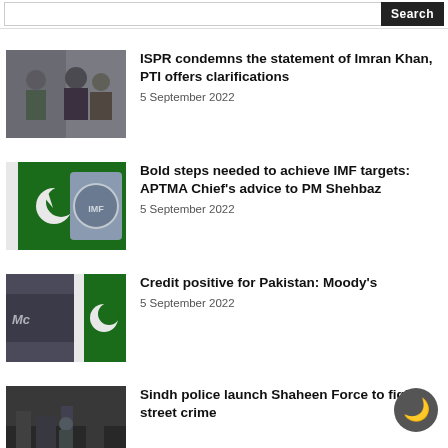Search
[Figure (photo): Two men in military uniform and a man in suit with sunglasses]
ISPR condemns the statement of Imran Khan, PTI offers clarifications
5 September 2022
[Figure (photo): Pakistan flag and IMF logo]
Bold steps needed to achieve IMF targets: APTMA Chief's advice to PM Shehbaz
5 September 2022
[Figure (photo): Moody's sign and Pakistan flag]
Credit positive for Pakistan: Moody's
5 September 2022
[Figure (photo): Police officers in city at night]
Sindh police launch Shaheen Force to fight street crime